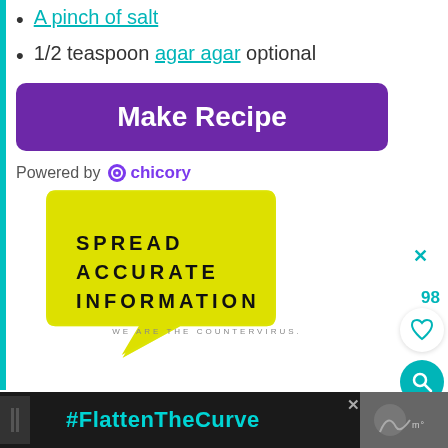A pinch of salt
1/2 teaspoon agar agar optional
[Figure (screenshot): Purple 'Make Recipe' button with rounded corners]
Powered by chicory
[Figure (infographic): Yellow speech bubble with bold text: SPREAD ACCURATE INFORMATION. Below: WE ARE THE COUNTERVIRUS.]
[Figure (infographic): Bottom advertisement banner with dark background showing #FlattenTheCurve in teal text, with image of hands washing]